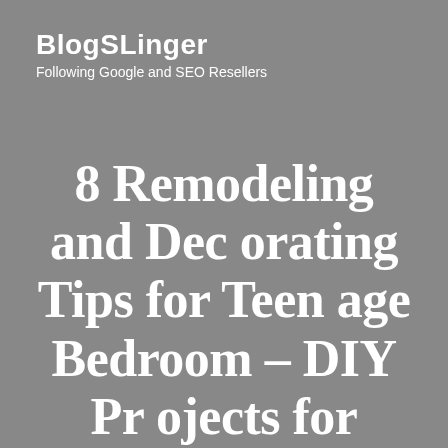BlogSLinger
Following Google and SEO Resellers
8 Remodeling and Decorating Tips for Teenage Bedroom – DIY Projects for Home
March 18, 2021 · admin